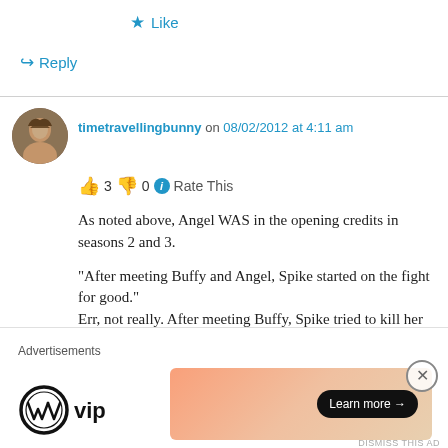★ Like
↪ Reply
timetravellingbunny on 08/02/2012 at 4:11 am
👍 3 👎 0 ℹ Rate This
As noted above, Angel WAS in the opening credits in seasons 2 and 3.

"After meeting Buffy and Angel, Spike started on the fight for good."
Err, not really. After meeting Buffy, Spike tried to kill her repeatedly, and later allied with her to get
Advertisements
[Figure (logo): WordPress VIP logo and advertisement banner with Learn more button]